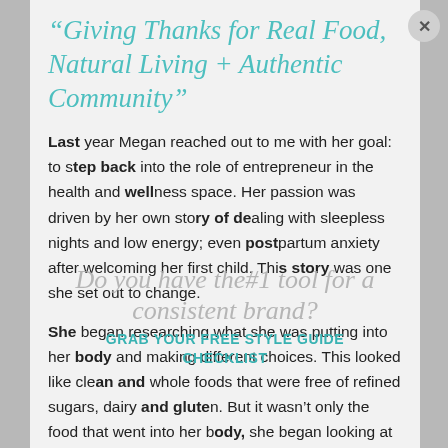"Giving Thanks for Real Food, Natural Living + Authentic Community"
Last year Megan reached out to me with her goal: to step back into the role of entrepreneur in the health and wellness space. Her passion was driven by her own story of dealing with sleepless nights and low energy; even postpartum anxiety after welcoming her first child. This story was one she set out to change.
She began researching what she was putting into her body and making different choices. This looked like clean and whole foods that were free of refined sugars, dairy and gluten. But it wasn't only the food that went into her body, she began looking at natural alternatives for clean living;
Do you have the #1 tool for a consistent brand?
GRAB YOUR FREE STYLE GUIDE CHECKLIST